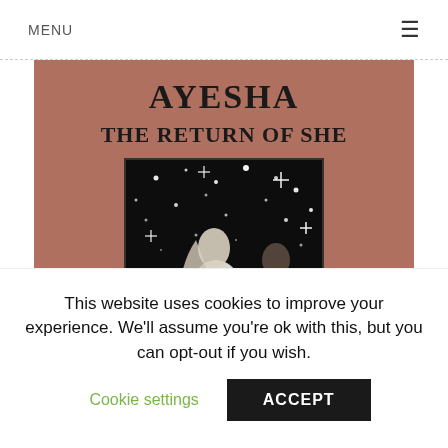MENU ≡
[Figure (illustration): Book cover for 'Ayesha: The Return of She' — rosewood/mauve background with bold serif title text 'AYESHA' and subtitle 'THE RETURN OF SHE'. Below the text is a dark rectangular illustration showing two figures (a woman in white robes and a man) against a starry night sky with sparkling stars and tombstone shapes in the foreground.]
This website uses cookies to improve your experience. We'll assume you're ok with this, but you can opt-out if you wish.
Cookie settings   ACCEPT